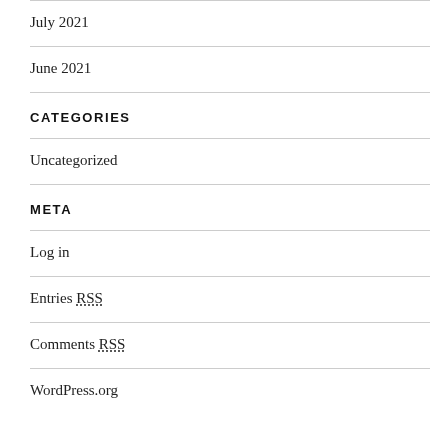July 2021
June 2021
CATEGORIES
Uncategorized
META
Log in
Entries RSS
Comments RSS
WordPress.org